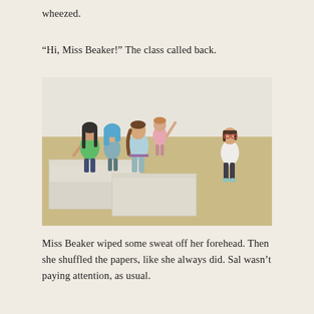wheezed.
“Hi, Miss Beaker!” The class called back.
[Figure (photo): American Girl dolls arranged in a classroom scene. Several dolls stand near white cardboard box desks on a beige carpet floor. One doll with long black hair wears a green shirt, another wears a blue hijab, another wears a light blue dress with a braid, and another in pink has her arm raised. A doll wearing glasses and a white jacket stands apart facing the group, representing the teacher Miss Beaker.]
Miss Beaker wiped some sweat off her forehead. Then she shuffled the papers, like she always did. Sal wasn’t paying attention, as usual.